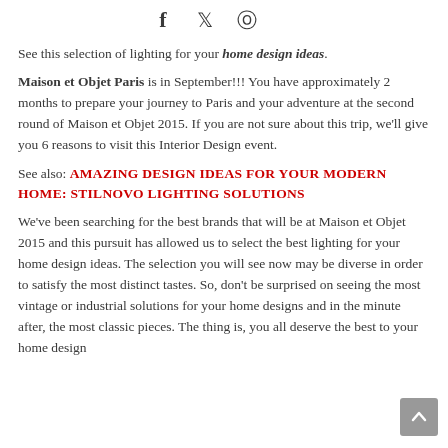f  ✓  ⊕
See this selection of lighting for your home design ideas.
Maison et Objet Paris is in September!!! You have approximately 2 months to prepare your journey to Paris and your adventure at the second round of Maison et Objet 2015. If you are not sure about this trip, we'll give you 6 reasons to visit this Interior Design event.
See also: AMAZING DESIGN IDEAS FOR YOUR MODERN HOME: STILNOVO LIGHTING SOLUTIONS
We've been searching for the best brands that will be at Maison et Objet 2015 and this pursuit has allowed us to select the best lighting for your home design ideas. The selection you will see now may be diverse in order to satisfy the most distinct tastes. So, don't be surprised on seeing the most vintage or industrial solutions for your home designs and in the minute after, the most classic pieces. The thing is, you all deserve the best to your home design